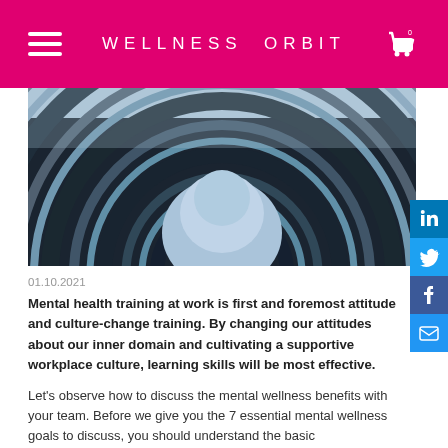WELLNESS ORBIT
[Figure (photo): Aerial/upward view of a curved modern glass building with concentric semicircular floors against a blue sky]
01.10.2021
Mental health training at work is first and foremost attitude and culture-change training. By changing our attitudes about our inner domain and cultivating a supportive workplace culture, learning skills will be most effective.
Let's observe how to discuss the mental wellness benefits with your team. Before we give you the 7 essential mental wellness goals to discuss, you should understand the basic